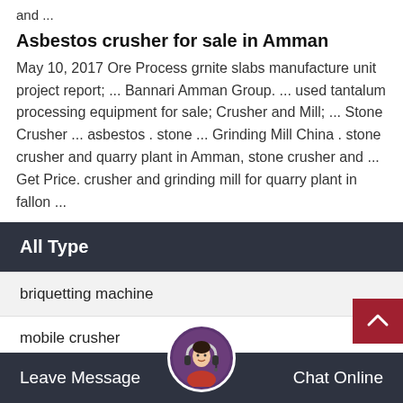and ...
Asbestos crusher for sale in Amman
May 10, 2017 Ore Process grnite slabs manufacture unit project report; ... Bannari Amman Group. ... used tantalum processing equipment for sale; Crusher and Mill; ... Stone Crusher ... asbestos . stone ... Grinding Mill China . stone crusher and quarry plant in Amman, stone crusher and ... Get Price. crusher and grinding mill for quarry plant in fallon ...
All Type
briquetting machine
mobile crusher
jaw crusher
Leave Message   Chat Online